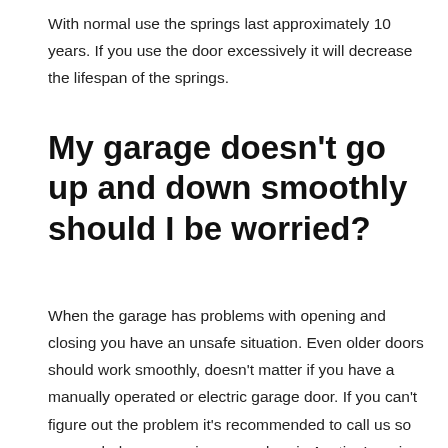With normal use the springs last approximately 10 years. If you use the door excessively it will decrease the lifespan of the springs.
My garage doesn't go up and down smoothly should I be worried?
When the garage has problems with opening and closing you have an unsafe situation. Even older doors should work smoothly, doesn't matter if you have a manually operated or electric garage door. If you can't figure out the problem it's recommended to call us so we can help you repair garage door in Austin. Ignoring the problem